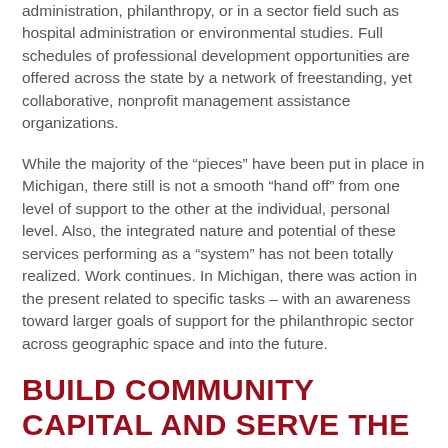administration, philanthropy, or in a sector field such as hospital administration or environmental studies. Full schedules of professional development opportunities are offered across the state by a network of freestanding, yet collaborative, nonprofit management assistance organizations.
While the majority of the “pieces” have been put in place in Michigan, there still is not a smooth “hand off” from one level of support to the other at the individual, personal level. Also, the integrated nature and potential of these services performing as a “system” has not been totally realized. Work continues. In Michigan, there was action in the present related to specific tasks – with an awareness toward larger goals of support for the philanthropic sector across geographic space and into the future.
BUILD COMMUNITY CAPITAL AND SERVE THE STATE
Philanthropy, itself, was the purpose for working together. In working together, the philanthropic